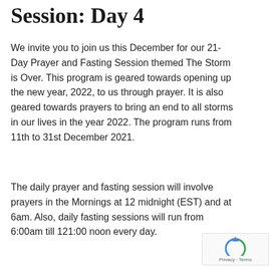Session: Day 4
We invite you to join us this December for our 21-Day Prayer and Fasting Session themed The Storm is Over. This program is geared towards opening up the new year, 2022, to us through prayer. It is also geared towards prayers to bring an end to all storms in our lives in the year 2022. The program runs from 11th to 31st December 2021.
The daily prayer and fasting session will involve prayers in the Mornings at 12 midnight (EST) and at 6am. Also, daily fasting sessions will run from 6:00am till 121:00 noon every day.